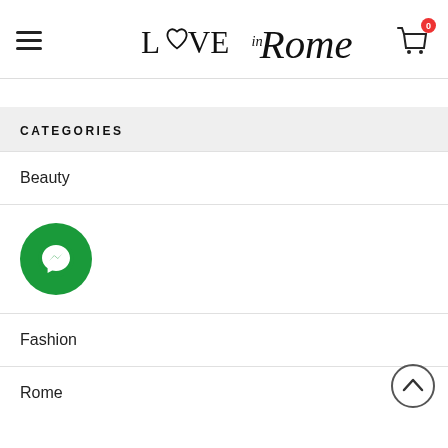[Figure (logo): Love in Rome logo with heart and stylized script text]
CATEGORIES
Beauty
[Figure (other): Green circular Messenger chat button icon]
Fashion
Rome
[Figure (other): Scroll to top circular arrow button]